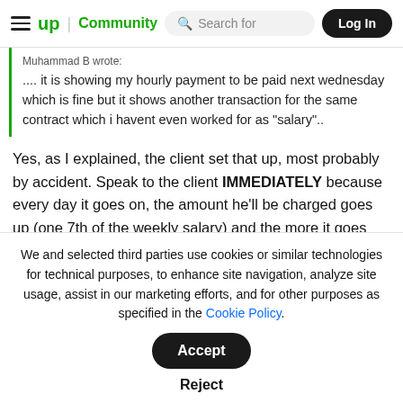≡  up | Community   Search for   Log In
Muhammad B wrote: .... it is showing my hourly payment to be paid next wednesday which is fine but it shows another transaction for the same contract which i havent even worked for as "salary"..
Yes, as I explained, the client set that up, most probably by accident. Speak to the client IMMEDIATELY because every day it goes on, the amount he'll be charged goes up (one 7th of the weekly salary) and the more it goes up, the
We and selected third parties use cookies or similar technologies for technical purposes, to enhance site navigation, analyze site usage, assist in our marketing efforts, and for other purposes as specified in the Cookie Policy.
Accept
Reject